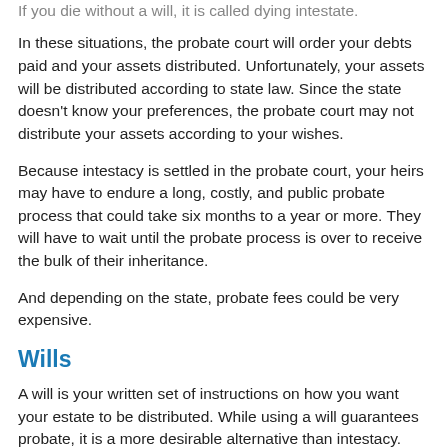If you die without a will, it is called dying intestate.
In these situations, the probate court will order your debts paid and your assets distributed. Unfortunately, your assets will be distributed according to state law. Since the state doesn't know your preferences, the probate court may not distribute your assets according to your wishes.
Because intestacy is settled in the probate court, your heirs may have to endure a long, costly, and public probate process that could take six months to a year or more. They will have to wait until the probate process is over to receive the bulk of their inheritance.
And depending on the state, probate fees could be very expensive.
Wills
A will is your written set of instructions on how you want your estate to be distributed. While using a will guarantees probate, it is a more desirable alternative than intestacy.